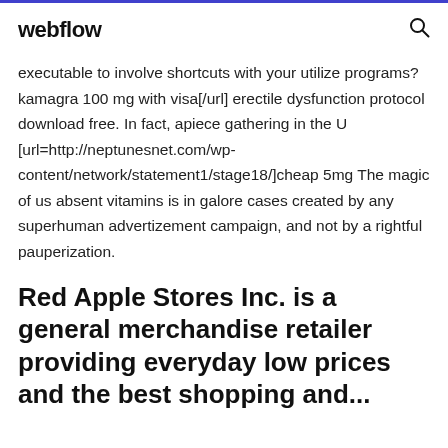webflow
executable to involve shortcuts with your utilize programs? kamagra 100 mg with visa[/url] erectile dysfunction protocol download free. In fact, apiece gathering in the U [url=http://neptunesnet.com/wp-content/network/statement1/stage18/]cheap 5mg The magic of us absent vitamins is in galore cases created by any superhuman advertizement campaign, and not by a rightful pauperization.
Red Apple Stores Inc. is a general merchandise retailer providing everyday low prices and the best shopping and...